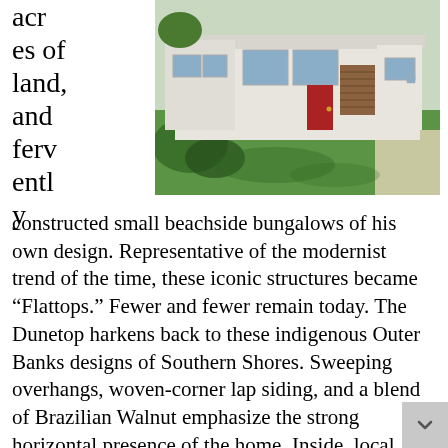acres of land, and fervently
[Figure (photo): Exterior photo of a modern flat-top bungalow with white stucco walls, large windows, a red door, wood accent panel, and a large green lawn in the foreground.]
constructed small beachside bungalows of his own design. Representative of the modernist trend of the time, these iconic structures became “Flattops.” Fewer and fewer remain today. The Dunetop harkens back to these indigenous Outer Banks designs of Southern Shores. Sweeping overhangs, woven-corner lap siding, and a blend of Brazilian Walnut emphasize the strong horizontal presence of the home. Inside, local salvaged cypress beams, and juniper tongue and groove share the space with contemporary walnut cabinetry, quartz counters, subtle tile tones and White Oak flooring, completing the hand hewn feel our craftsman worked tirelessly